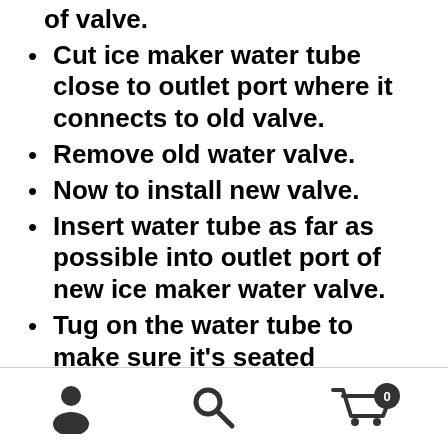of valve.
Cut ice maker water tube close to outlet port where it connects to old valve.
Remove old water valve.
Now to install new valve.
Insert water tube as far as possible into outlet port of new ice maker water valve.
Tug on the water tube to make sure it's seated properly.
Attach wire harness lead to the solenoid coil
User icon | Search icon | Cart icon with 0